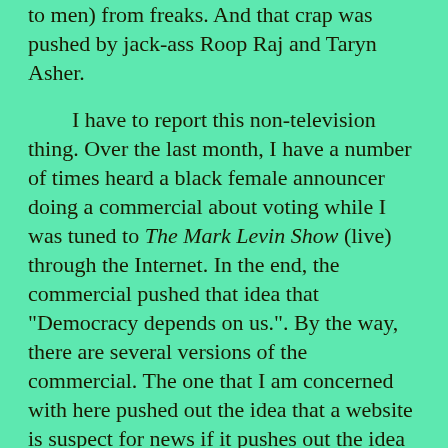to men) from freaks. And that crap was pushed by jack-ass Roop Raj and Taryn Asher.
I have to report this non-television thing. Over the last month, I have a number of times heard a black female announcer doing a commercial about voting while I was tuned to The Mark Levin Show (live) through the Internet. In the end, the commercial pushed that idea that "Democracy depends on us.". By the way, there are several versions of the commercial. The one that I am concerned with here pushed out the idea that a website is suspect for news if it pushes out the idea that "The media wouldn't cover this.". I have proven numerous times through editions of T.H.A.T. things that the media will not cover or did not cover. The commercial is crap!
And I end with what could be a television show--focusing on the making of a model of Forty Mile Point Lighthouse. For this month, the edition of